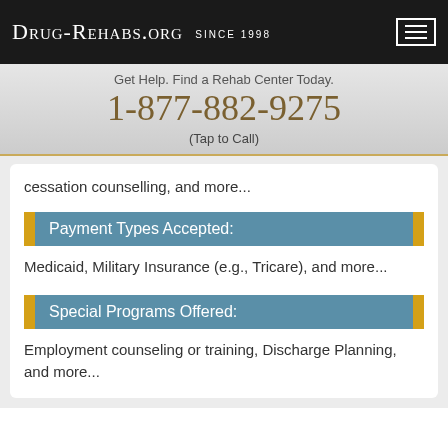Drug-Rehabs.org Since 1998
Get Help. Find a Rehab Center Today.
1-877-882-9275
(Tap to Call)
cessation counselling, and more...
Payment Types Accepted:
Medicaid, Military Insurance (e.g., Tricare), and more...
Special Programs Offered:
Employment counseling or training, Discharge Planning, and more...